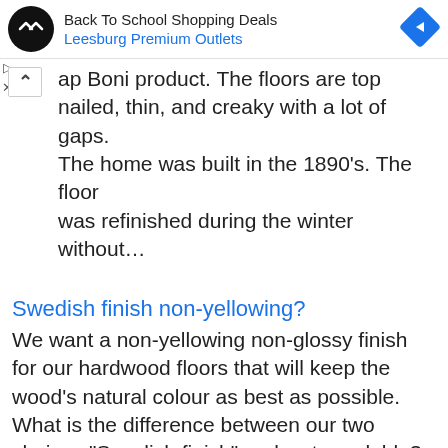[Figure (other): Ad banner for Back To School Shopping Deals at Leesburg Premium Outlets with circular logo and navigation arrow icon]
...ap Boni product. The floors are top nailed, thin, and creaky with a lot of gaps. The home was built in the 1890's. The floor was refinished during the winter without...
Swedish finish non-yellowing?
We want a non-yellowing non-glossy finish for our hardwood floors that will keep the wood's natural colour as best as possible. What is the difference between our two choices "Swedish finish" and water-soluble?